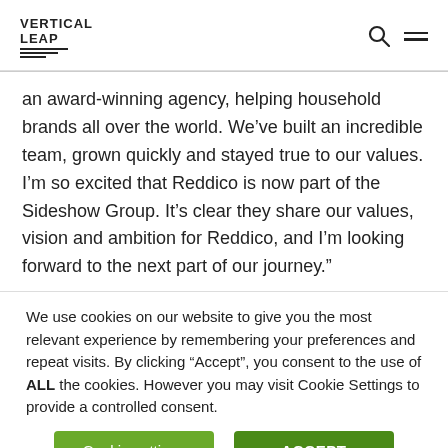Vertical Leap
an award-winning agency, helping household brands all over the world. We’ve built an incredible team, grown quickly and stayed true to our values. I’m so excited that Reddico is now part of the Sideshow Group. It’s clear they share our values, vision and ambition for Reddico, and I’m looking forward to the next part of our journey.”
We use cookies on our website to give you the most relevant experience by remembering your preferences and repeat visits. By clicking “Accept”, you consent to the use of ALL the cookies. However you may visit Cookie Settings to provide a controlled consent.
Cookie settings | ACCEPT